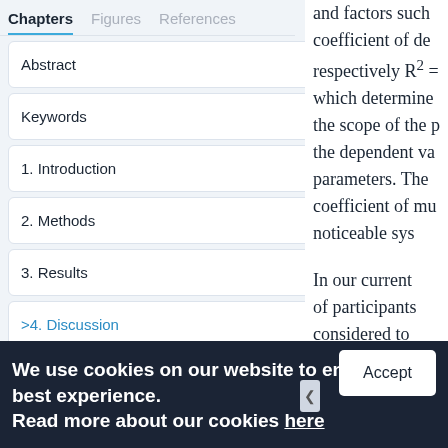Chapters | Figures | References
Abstract
Keywords
1. Introduction
2. Methods
3. Results
>4. Discussion
5. Conclusions
and factors such as coefficient of de respectively R² = which determine the scope of the p the dependent va parameters. The coefficient of mu noticeable sys
In our current of participants considered to
We use cookies on our website to ensure you best experience. Read more about our cookies here